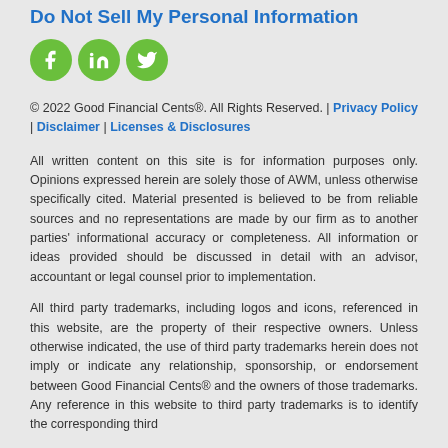Do Not Sell My Personal Information
[Figure (illustration): Three circular green social media icons: Facebook (f), LinkedIn (in), and Twitter (bird)]
© 2022 Good Financial Cents®. All Rights Reserved. | Privacy Policy | Disclaimer | Licenses & Disclosures
All written content on this site is for information purposes only. Opinions expressed herein are solely those of AWM, unless otherwise specifically cited. Material presented is believed to be from reliable sources and no representations are made by our firm as to another parties' informational accuracy or completeness. All information or ideas provided should be discussed in detail with an advisor, accountant or legal counsel prior to implementation.
All third party trademarks, including logos and icons, referenced in this website, are the property of their respective owners. Unless otherwise indicated, the use of third party trademarks herein does not imply or indicate any relationship, sponsorship, or endorsement between Good Financial Cents® and the owners of those trademarks. Any reference in this website to third party trademarks is to identify the corresponding third